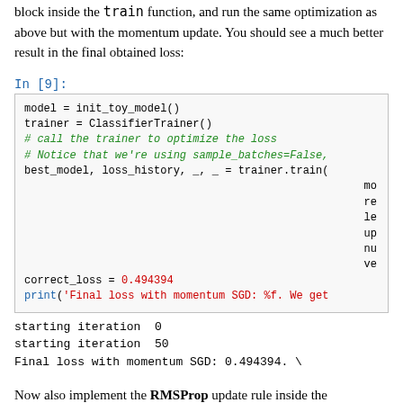block inside the `train` function, and run the same optimization as above but with the momentum update. You should see a much better result in the final obtained loss:
In [9]:
model = init_toy_model()
trainer = ClassifierTrainer()
# call the trainer to optimize the loss
# Notice that we're using sample_batches=False,
best_model, loss_history, _, _ = trainer.train(
                                                mo
                                                re
                                                le
                                                up
                                                nu
                                                ve
correct_loss = 0.494394
print('Final loss with momentum SGD: %f. We get
starting iteration  0
starting iteration  50
Final loss with momentum SGD: 0.494394. \
Now also implement the RMSProp update rule inside the